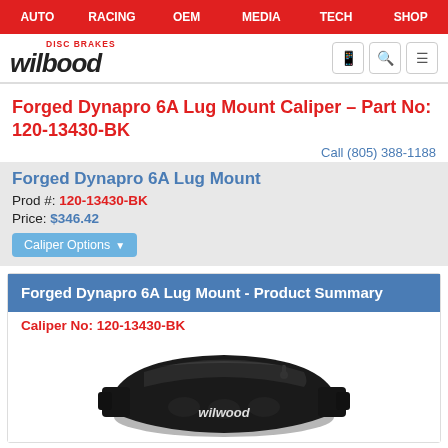AUTO | RACING | OEM | MEDIA | TECH | SHOP
[Figure (logo): Wilwood Disc Brakes logo with mobile, search, and menu icons]
Forged Dynapro 6A Lug Mount Caliper – Part No: 120-13430-BK
Call (805) 388-1188
Forged Dynapro 6A Lug Mount
Prod #: 120-13430-BK
Price: $346.42
Caliper Options ▼
Forged Dynapro 6A Lug Mount - Product Summary
Caliper No: 120-13430-BK
[Figure (photo): Black Wilwood forged disc brake caliper with Wilwood branding on the body]